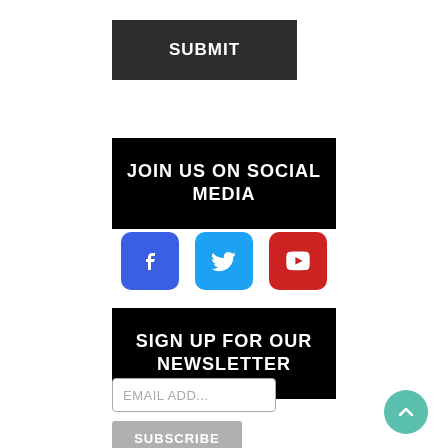SUBMIT
JOIN US ON SOCIAL MEDIA
[Figure (infographic): Three social media icon buttons: Facebook (blue), Twitter (light blue), YouTube (red)]
SIGN UP FOR OUR NEWSLETTER
EMAIL ADD...
SUBSCRIBE